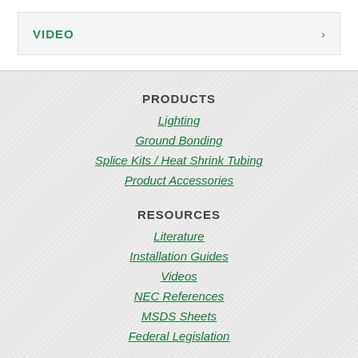VIDEO
PRODUCTS
Lighting
Ground Bonding
Splice Kits / Heat Shrink Tubing
Product Accessories
RESOURCES
Literature
Installation Guides
Videos
NEC References
MSDS Sheets
Federal Legislation